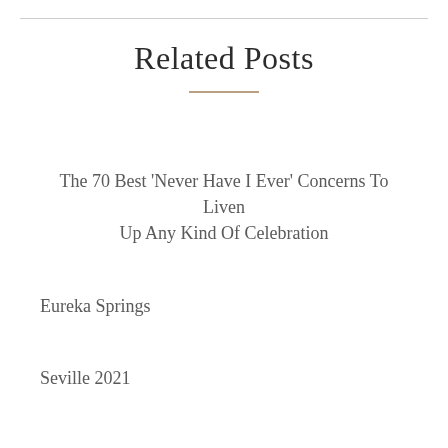Related Posts
The 70 Best ‘Never Have I Ever’ Concerns To Liven Up Any Kind Of Celebration
Eureka Springs
Seville 2021